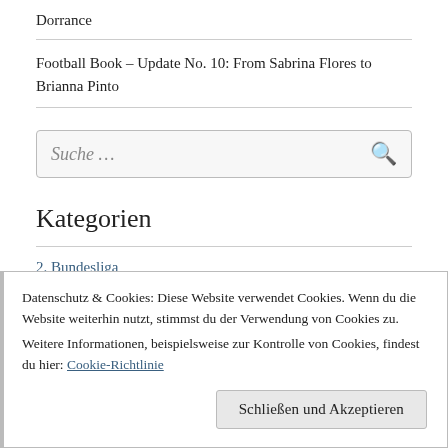Dorrance
Football Book – Update No. 10: From Sabrina Flores to Brianna Pinto
Suche …
Kategorien
2. Bundesliga
Allgemein
Datenschutz & Cookies: Diese Website verwendet Cookies. Wenn du die Website weiterhin nutzt, stimmst du der Verwendung von Cookies zu.
Weitere Informationen, beispielsweise zur Kontrolle von Cookies, findest du hier: Cookie-Richtlinie
Schließen und Akzeptieren